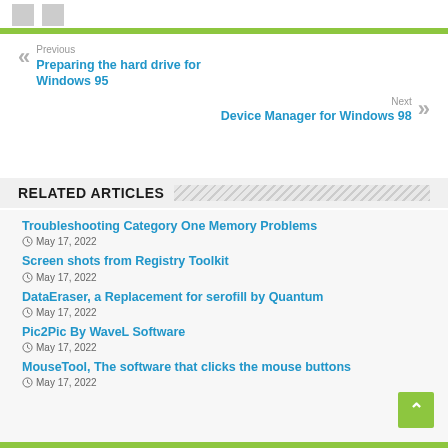Previous
Preparing the hard drive for Windows 95
Next
Device Manager for Windows 98
RELATED ARTICLES
Troubleshooting Category One Memory Problems
May 17, 2022
Screen shots from Registry Toolkit
May 17, 2022
DataEraser, a Replacement for serofill by Quantum
May 17, 2022
Pic2Pic By WaveL Software
May 17, 2022
MouseTool, The software that clicks the mouse buttons
May 17, 2022